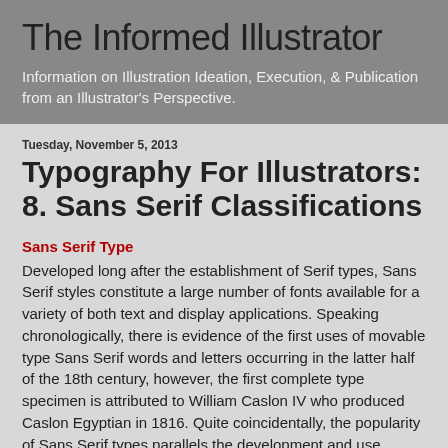The Informed Illustrator
Information on Illustration Ideation, Execution, & Publication from an Illustrator's Perspective.
Tuesday, November 5, 2013
Typography For Illustrators: 8. Sans Serif Classifications
Sans Serif Type
Developed long after the establishment of Serif types, Sans Serif styles constitute a large number of fonts available for a variety of both text and display applications. Speaking chronologically, there is evidence of the first uses of movable type Sans Serif words and letters occurring in the latter half of the 18th century, however, the first complete type specimen is attributed to William Caslon IV who produced Caslon Egyptian in 1816. Quite coincidentally, the popularity of Sans Serif types parallels the development and use